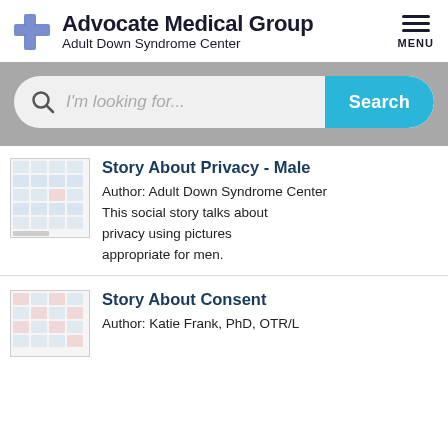[Figure (logo): Advocate Medical Group logo with blue cross icon and text 'Advocate Medical Group / Adult Down Syndrome Center']
[Figure (screenshot): Search bar with magnifying glass icon, placeholder text 'I'm looking for...' and a teal 'Search' button]
[Figure (photo): Thumbnail image showing a grid of social story picture symbols for the Story About Privacy - Male resource]
Story About Privacy - Male
Author: Adult Down Syndrome Center
This social story talks about privacy using pictures appropriate for men.
[Figure (photo): Thumbnail image showing a grid of social story picture symbols for the Story About Consent resource]
Story About Consent
Author: Katie Frank, PhD, OTR/L